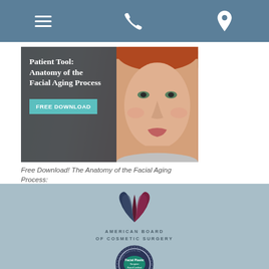[Figure (screenshot): Navigation bar with hamburger menu, phone icon, and location pin icon on a steel blue background]
[Figure (illustration): Banner image showing a woman's face illustration with text overlay: 'Patient Tool: Anatomy of the Facial Aging Process' and a 'FREE DOWNLOAD' button on a dark background]
Free Download! The Anatomy of the Facial Aging Process:
Download this patient tool now to learn how you can combat the facial aging process with facial rejuvenation treatments.
[Figure (logo): American Board of Cosmetic Surgery logo with stylized wing/flame emblem in dark red and blue, text 'AMERICAN BOARD OF COSMETIC SURGERY']
[Figure (logo): Facial Plastic Surgeon Board Certified seal/badge in dark navy and teal colors with text 'ABFPRS']